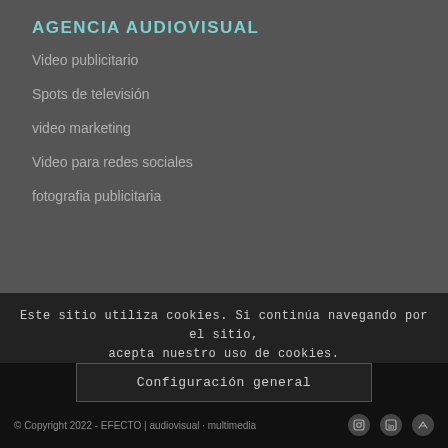AGENCIA AUDIOVISUAL
Video publicitario
Spots de televisión
video marketing
Video para redes sociales
fotografia publicitaria
Este sitio utiliza cookies. Si continúa navegando por el sitio, acepta nuestro uso de cookies.
Aceptar
Ocultar la notificación
Configuración general
© Copyright 2022 - EFECTO | audiovisual · multimedia